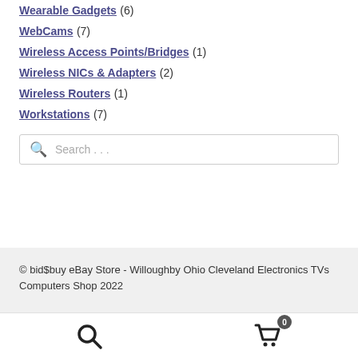Wearable Gadgets (6)
WebCams (7)
Wireless Access Points/Bridges (1)
Wireless NICs & Adapters (2)
Wireless Routers (1)
Workstations (7)
Search ...
© bid$buy eBay Store - Willoughby Ohio Cleveland Electronics TVs Computers Shop 2022